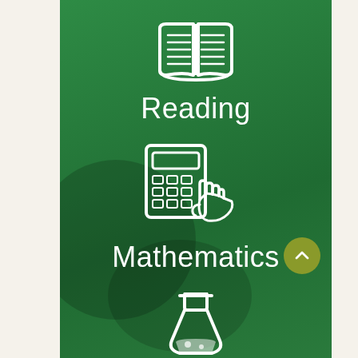[Figure (illustration): White open book icon on green background]
Reading
[Figure (illustration): White calculator with hand/finger icon on green background]
Mathematics
[Figure (illustration): White flask/beaker (science) icon on green background, partially visible at bottom]
[Figure (illustration): Olive/yellow-green circular up-arrow navigation button]